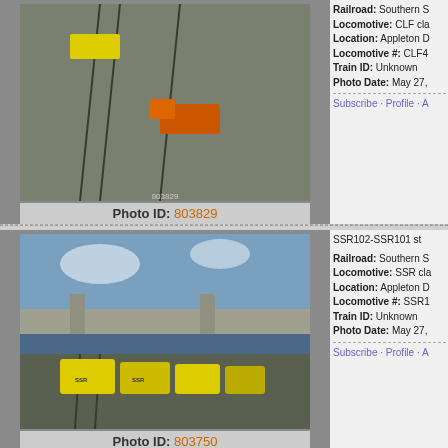[Figure (photo): Train photograph showing CLF class locomotive at Appleton Dock, yellow/orange freight train]
Photo ID: 803829
Railroad: Southern S
Locomotive: CLF cla
Location: Appleton D
Locomotive #: CLF4
Train ID: Unknown
Photo Date: May 27,
Subscribe · Profile · A
[Figure (photo): Train photograph showing SSR102-SSR101 at Appleton Dock, yellow freight locomotives]
Photo ID: 803750
SSR102-SSR101 st
Railroad: Southern S
Locomotive: SSR cla
Location: Appleton D
Locomotive #: SSR1
Train ID: Unknown
Photo Date: May 27,
Subscribe · Profile · A
[Figure (photo): Train photograph showing G515-VL360 with rake of grain wagons at Appleton Dock]
G515-VL360 runni
rake of grain wagon
Railroad: QUBE Log
Locomotive: G class
Location: Appleton D
Locomotive #: G515
Train ID: Unknown